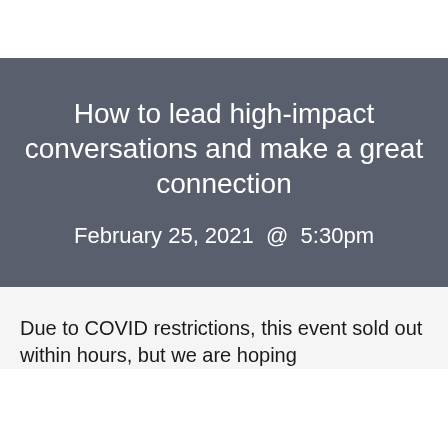How to lead high-impact conversations and make a great connection
February 25, 2021 @  5:30pm
Due to COVID restrictions, this event sold out within hours, but we are hoping